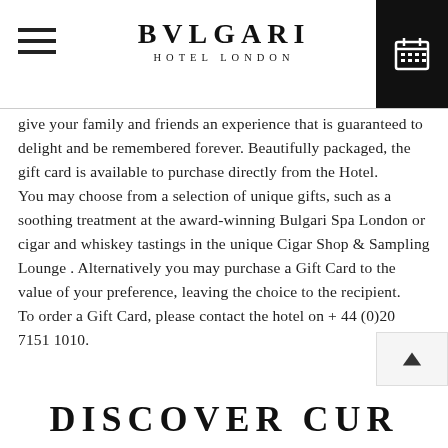BVLGARI HOTEL LONDON
give your family and friends an experience that is guaranteed to delight and be remembered forever. Beautifully packaged, the gift card is available to purchase directly from the Hotel. You may choose from a selection of unique gifts, such as a soothing treatment at the award-winning Bulgari Spa London or cigar and whiskey tastings in the unique Cigar Shop & Sampling Lounge . Alternatively you may purchase a Gift Card to the value of your preference, leaving the choice to the recipient. To order a Gift Card, please contact the hotel on + 44 (0)20 7151 1010.
DISCOVER CUR